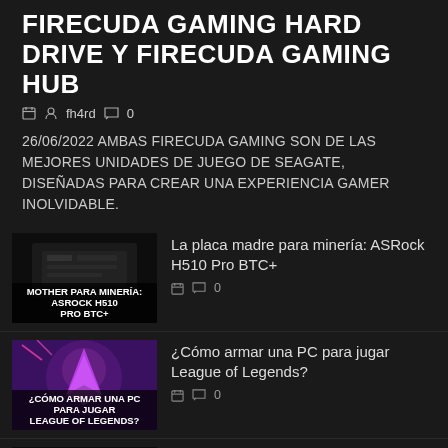FIRECUDA GAMING HARD DRIVE Y FIRECUDA GAMING HUB
fh4rd  0
26/06/2022 AMBAS FIRECUDA GAMING SON DE LAS MEJORES UNIDADES DE JUEGO DE SEAGATE, DISEÑADAS PARA CREAR UNA EXPERIENCIA GAMER INOLVIDABLE.
[Figure (photo): Thumbnail image of ASRock H510 Pro BTC+ motherboard on dark background with text overlay: MOTHER PARA MINERÍA: ASROCK H510 PRO BTC+]
La placa madre para minería: ASRock H510 Pro BTC+
0
[Figure (photo): Thumbnail image of League of Legends character with purple/fantasy background and text overlay: ¿CÓMO ARMAR UNA PC PARA JUGAR LEAGUE OF LEGENDS?]
¿Cómo armar una PC para jugar League of Legends?
0
[Figure (photo): Thumbnail image of NVIDIA GeForce RTX graphics card with green lighting on dark background]
LAS MEJORES PLACAS DE VIDEO NVIDIA GEFORCE 2022